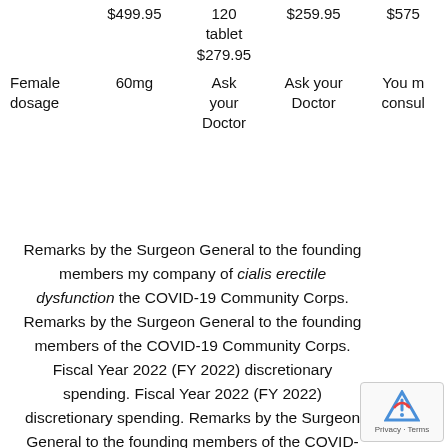|  | $499.95 | 120 tablet $279.95 | $259.95 | $575 |
| Female dosage | 60mg | Ask your Doctor | Ask your Doctor | You m consult |
Remarks by the Surgeon General to the founding members my company of cialis erectile dysfunction the COVID-19 Community Corps. Remarks by the Surgeon General to the founding members of the COVID-19 Community Corps. Fiscal Year 2022 (FY 2022) discretionary spending. Fiscal Year 2022 (FY 2022) discretionary spending. Remarks by the Surgeon General to the founding members of the COVID-19